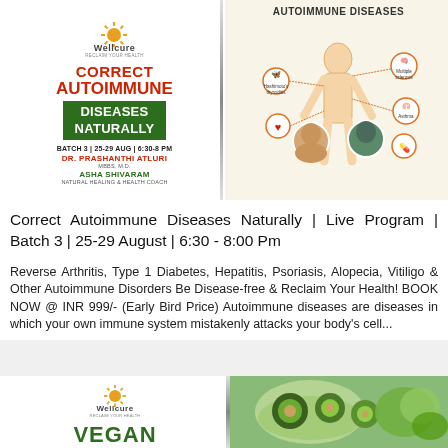[Figure (infographic): Wellcure promotional banner: 'Correct Autoimmune Diseases Naturally' program, Batch 3, 25-29 Aug, 6:30-8 PM, featuring Dr. Prashanthi Atluri (MBBS, M.D.) and Asha Shivaram (Natural Healing & Health Coach), with an autoimmune diseases body diagram on the right showing Hashimoto's thyroiditis, Multiple sclerosis, Asthma, and other conditions.]
Correct Autoimmune Diseases Naturally | Live Program | Batch 3 | 25-29 August | 6:30 - 8:00 Pm
Reverse Arthritis, Type 1 Diabetes, Hepatitis, Psoriasis, Alopecia, Vitiligo & Other Autoimmune Disorders Be Disease-free & Reclaim Your Health! BOOK NOW @ INR 999/- (Early Bird Price) Autoimmune diseases are diseases in which your own immune system mistakenly attacks your body's cell...
[Figure (infographic): Wellcure banner bottom section with Wellcure logo, 'VEGAN' text, and a food/green image on the right side.]